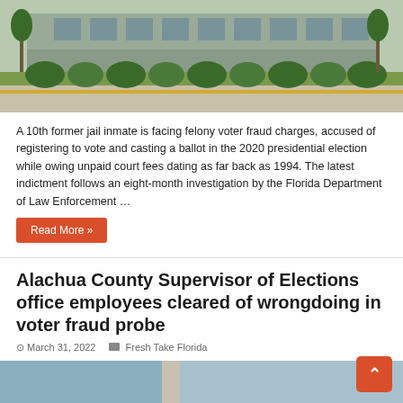[Figure (photo): Exterior photo of a government building with trees, bushes, and a parking lot/driveway in front. Green landscaping visible.]
A 10th former jail inmate is facing felony voter fraud charges, accused of registering to vote and casting a ballot in the 2020 presidential election while owing unpaid court fees dating as far back as 1994. The latest indictment follows an eight-month investigation by the Florida Department of Law Enforcement …
Read More »
Alachua County Supervisor of Elections office employees cleared of wrongdoing in voter fraud probe
March 31, 2022   Fresh Take Florida
[Figure (photo): Partial photo of a building exterior, partially cropped at bottom of page.]